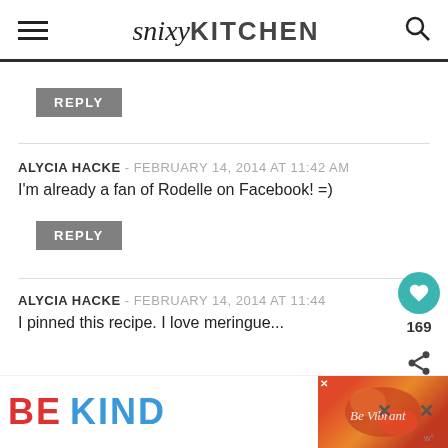snixyKITCHEN
REPLY
ALYCIA HACKE - FEBRUARY 14, 2014 AT 11:42 AM
I'm already a fan of Rodelle on Facebook! =)
REPLY
ALYCIA HACKE - FEBRUARY 14, 2014 AT 11:44
I pinned this recipe. I love meringue...
[Figure (infographic): BE KIND advertisement banner with colorful text and decorative image]